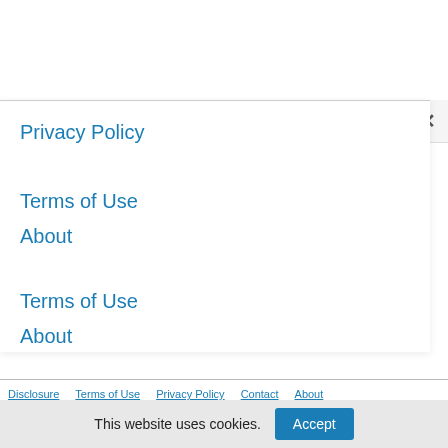Privacy Policy
Terms of Use
About
Terms of Use
About
Disclosure   Terms of Use   Privacy Policy   Contact   About
This website uses cookies.
Accept